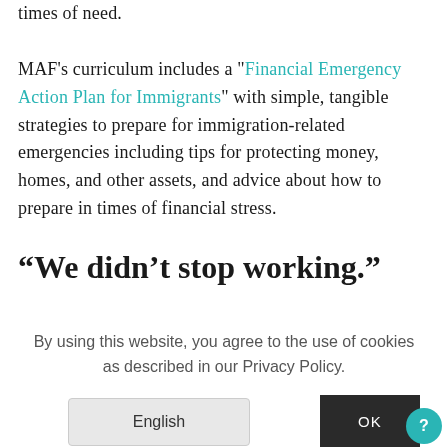times of need.

MAF's curriculum includes a "Financial Emergency Action Plan for Immigrants" with simple, tangible strategies to prepare for immigration-related emergencies including tips for protecting money, homes, and other assets, and advice about how to prepare in times of financial stress.
“We didn’t stop working.”
By using this website, you agree to the use of cookies as described in our Privacy Policy.